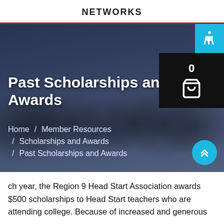NETWORKS
[Figure (photo): Group photo of diverse adults and children standing together, overlaid with a dark blue tint. Shows the banner hero image for the 'Past Scholarships and Awards' page of the Region 9 Head Start Association website. Includes accessibility icon (blue, top right), shopping cart widget (black, top right), breadcrumb navigation, and a scroll-up button.]
Past Scholarships and Awards
Home / Member Resources
/ Scholarships and Awards
/ Past Scholarships and Awards
ch year, the Region 9 Head Start Association awards $500 scholarships to Head Start teachers who are attending college. Because of increased and generous